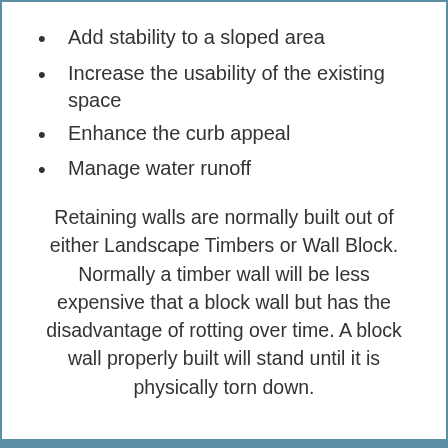Add stability to a sloped area
Increase the usability of the existing space
Enhance the curb appeal
Manage water runoff
Retaining walls are normally built out of either Landscape Timbers or Wall Block. Normally a timber wall will be less expensive that a block wall but has the disadvantage of rotting over time. A block wall properly built will stand until it is physically torn down.